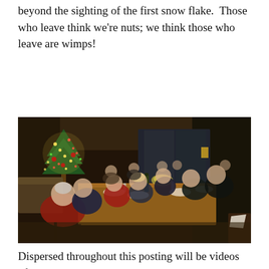beyond the sighting of the first snow flake.  Those who leave think we're nuts; we think those who leave are wimps!
[Figure (photo): Group of people seated around a long wooden dining table at a Christmas party dinner. A decorated Christmas tree with lights and red ornaments is visible in the background on the left. Large windows in the background show a dark evening outside. The guests are dressed in holiday attire including red and dark clothing.]
Dispersed throughout this posting will be videos of the